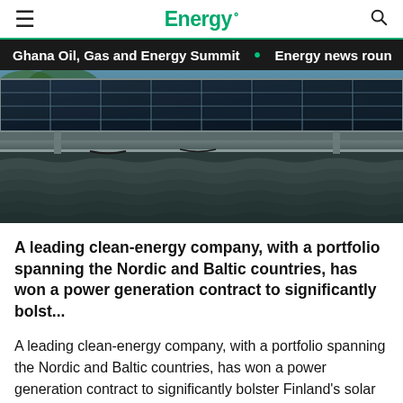Energy.
[Figure (screenshot): News ticker bar showing: Ghana Oil, Gas and Energy Summit • Energy news roun]
[Figure (photo): Close-up photo of solar panels mounted on a rooftop structure, viewed from below at an angle, showing dark blue photovoltaic cells with metal frames against a sky background.]
A leading clean-energy company, with a portfolio spanning the Nordic and Baltic countries, has won a power generation contract to significantly bolst...
A leading clean-energy company, with a portfolio spanning the Nordic and Baltic countries, has won a power generation contract to significantly bolster Finland's solar electricity capacity.